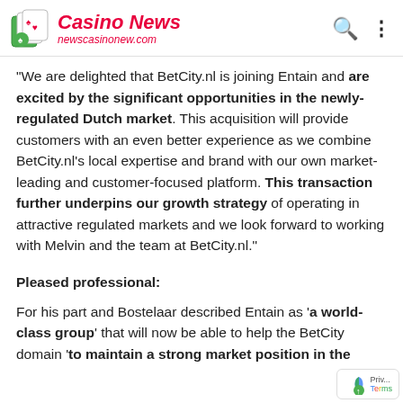Casino News newscasinonew.com
"We are delighted that BetCity.nl is joining Entain and are excited by the significant opportunities in the newly-regulated Dutch market. This acquisition will provide customers with an even better experience as we combine BetCity.nl's local expertise and brand with our own market-leading and customer-focused platform. This transaction further underpins our growth strategy of operating in attractive regulated markets and we look forward to working with Melvin and the team at BetCity.nl."
Pleased professional:
For his part and Bostelaar described Entain as 'a world-class group' that will now be able to help the BetCity domain 'to maintain a strong market position in the...